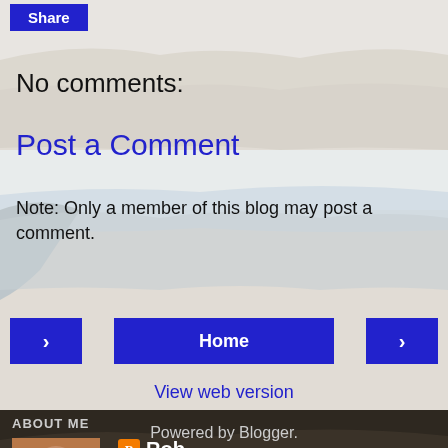[Figure (photo): Desert landscape / rocky terrain background photo with river/lake in distance]
Share
No comments:
Post a Comment
Note: Only a member of this blog may post a comment.
< Home >
View web version
ABOUT ME
[Figure (photo): Profile photo of Rob, a middle-aged man smiling]
Rob
Biography
View my complete profile
Powered by Blogger.